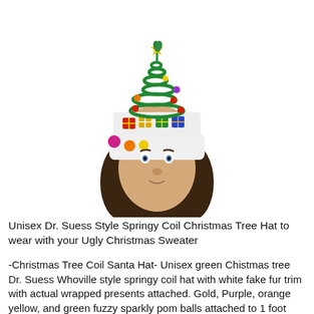[Figure (photo): A mannequin head wearing a white fuzzy Christmas hat with a green springy coil on top shaped like a Dr. Suess / Whoville Christmas tree. The coil has colorful pom balls (gold, purple, orange, green) and red berries. Actual wrapped gift boxes (red, yellow, gold, green, blue) are attached to the white hat band. A gold star dangles from the top of the coil. White background.]
Unisex Dr. Suess Style Springy Coil Christmas Tree Hat to wear with your Ugly Christmas Sweater
-Christmas Tree Coil Santa Hat- Unisex green Chistmas tree Dr. Suess Whoville style springy coil hat with white fake fur trim with actual wrapped presents attached. Gold, Purple, orange yellow, and green fuzzy sparkly pom balls attached to 1 foot high green spring coil. Gold plastic stars dangle down from spring, Stuffed